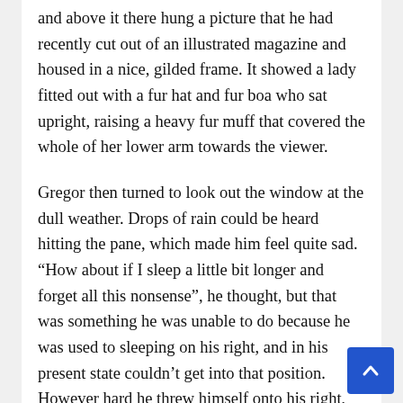and above it there hung a picture that he had recently cut out of an illustrated magazine and housed in a nice, gilded frame. It showed a lady fitted out with a fur hat and fur boa who sat upright, raising a heavy fur muff that covered the whole of her lower arm towards the viewer.
Gregor then turned to look out the window at the dull weather. Drops of rain could be heard hitting the pane, which made him feel quite sad. “How about if I sleep a little bit longer and forget all this nonsense”, he thought, but that was something he was unable to do because he was used to sleeping on his right, and in his present state couldn’t get into that position. However hard he threw himself onto his right, he always rolled back to where he was.